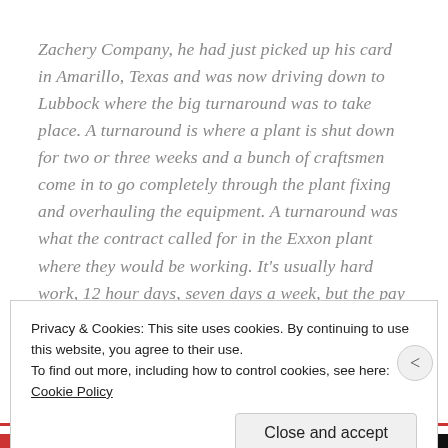Zachery Company, he had just picked up his card in Amarillo, Texas and was now driving down to Lubbock where the big turnaround was to take place. A turnaround is where a plant is shut down for two or three weeks and a bunch of craftsmen come in to go completely through the plant fixing and overhauling the equipment. A turnaround was what the contract called for in the Exxon plant where they would be working. It's usually hard work, 12 hour days, seven days a week, but the pay was high and so the money was good.
Privacy & Cookies: This site uses cookies. By continuing to use this website, you agree to their use.
To find out more, including how to control cookies, see here: Cookie Policy